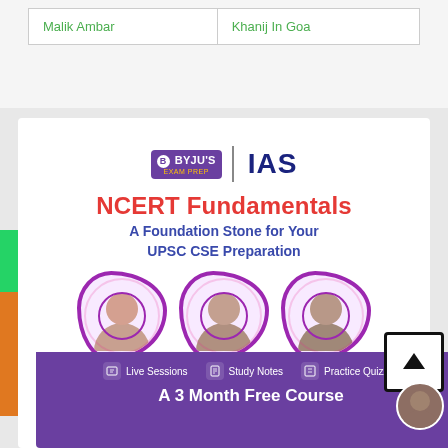|  |  |
| --- | --- |
| Malik Ambar | Khanij In Goa |
[Figure (infographic): BYJU'S Exam Prep IAS advertisement banner for NCERT Fundamentals course - A Foundation Stone for Your UPSC CSE Preparation, showing three educators in hexagonal frames, with Live Sessions, Study Notes, Practice Quizzes features, and A 3 Month Free Course offer]
[Figure (infographic): Social media sidebar with WhatsApp (green), Share (orange), and Phone (orange) buttons with close X button]